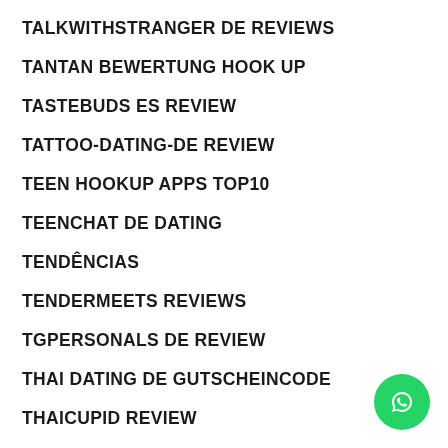TALKWITHSTRANGER DE REVIEWS
TANTAN BEWERTUNG HOOK UP
TASTEBUDS ES REVIEW
TATTOO-DATING-DE REVIEW
TEEN HOOKUP APPS TOP10
TEENCHAT DE DATING
TENDÊNCIAS
TENDERMEETS REVIEWS
TGPERSONALS DE REVIEW
THAI DATING DE GUTSCHEINCODE
THAICUPID REVIEW
[Figure (illustration): WhatsApp contact button (green circle with WhatsApp logo)]